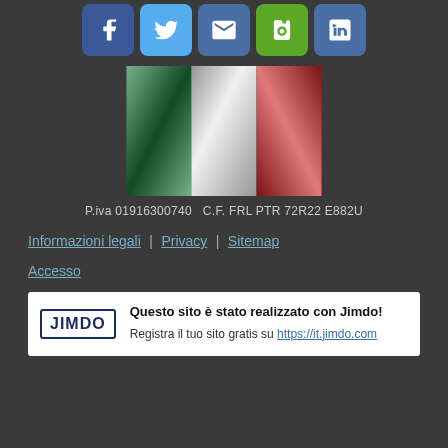[Figure (infographic): Social media icon buttons: Facebook (blue), Twitter (light blue), Email (dark blue), Evernote (green), LinkedIn (dark blue)]
[Figure (photo): Italian national flag (tricolore: green, white, red stripes) rendered with fabric texture]
P.iva 01916300740   C.F. FRL PTR 72R22 E882U
Informazioni legali | Privacy | Sitemap
Accesso
Questo sito è stato realizzato con Jimdo! Registra il tuo sito gratis su https://it.jimdo.com